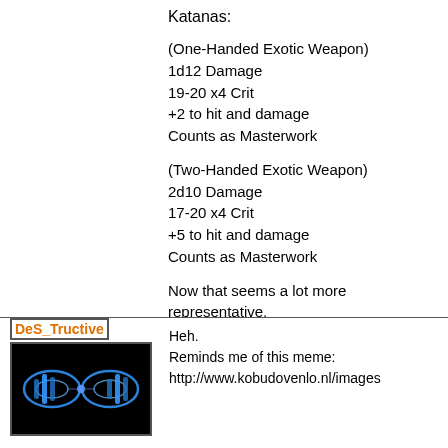Katanas:
(One-Handed Exotic Weapon)
1d12 Damage
19-20 x4 Crit
+2 to hit and damage
Counts as Masterwork
(Two-Handed Exotic Weapon)
2d10 Damage
17-20 x4 Crit
+5 to hit and damage
Counts as Masterwork
Now that seems a lot more representative, don't you think?
tl;dr = Katanas need to do more damage i
DeS_Tructive
[Figure (photo): Dark image with blue glowing DNA-like or symmetrical blue light design on black background]
Heh.
Reminds me of this meme:
http://www.kobudovenlo.nl/images